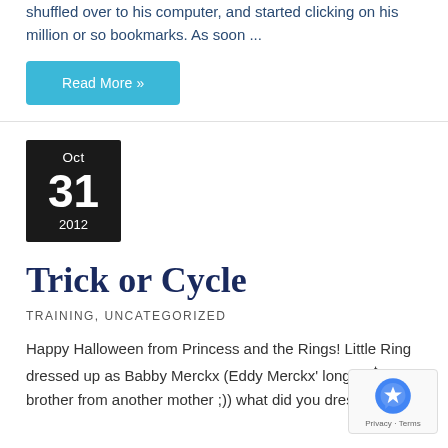shuffled over to his computer, and started clicking on his million or so bookmarks. As soon ...
Read More »
[Figure (other): Date box showing Oct 31 2012 in black background with white text]
Trick or Cycle
TRAINING, UNCATEGORIZED
Happy Halloween from Princess and the Rings! Little Ring dressed up as Babby Merckx (Eddy Merckx' long lost brother from another mother ;)) what did you dress
[Figure (logo): reCAPTCHA badge with Privacy and Terms links]